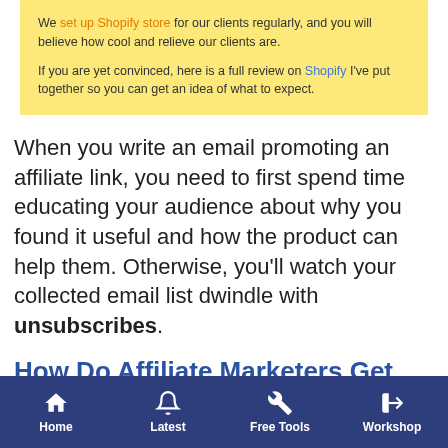We set up Shopify store for our clients regularly, and you will believe how cool and relieve our clients are.

If you are yet convinced, here is a full review on Shopify I've put together so you can get an idea of what to expect.
When you write an email promoting an affiliate link, you need to first spend time educating your audience about why you found it useful and how the product can help them. Otherwise, you'll watch your collected email list dwindle with unsubscribes.
How Do Affiliate Marketers Get Paid?
An affiliate get paid after linking the seller to the
Home | Latest | Free Tools | Workshop